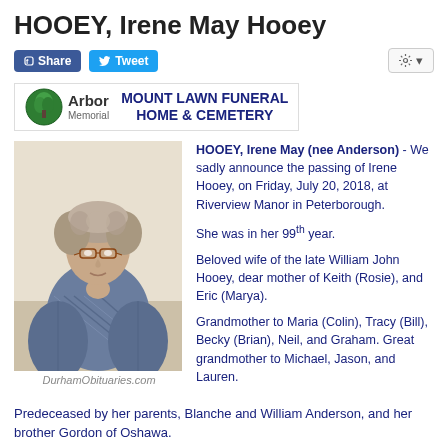HOOEY, Irene May Hooey
[Figure (screenshot): Facebook Share button and Twitter Tweet button, plus a gear/settings button on the right]
[Figure (logo): Arbor Memorial logo with tree icon, and text 'MOUNT LAWN FUNERAL HOME & CEMETERY']
[Figure (photo): Photo of elderly woman with curly grey hair, glasses, wearing a patterned blouse. Caption: DurhamObituaries.com]
HOOEY, Irene May (nee Anderson) - We sadly announce the passing of Irene Hooey, on Friday, July 20, 2018, at Riverview Manor in Peterborough. She was in her 99th year. Beloved wife of the late William John Hooey, dear mother of Keith (Rosie), and Eric (Marya). Grandmother to Maria (Colin), Tracy (Bill), Becky (Brian), Neil, and Graham. Great grandmother to Michael, Jason, and Lauren.
Predeceased by her parents, Blanche and William Anderson, and her brother Gordon of Oshawa.